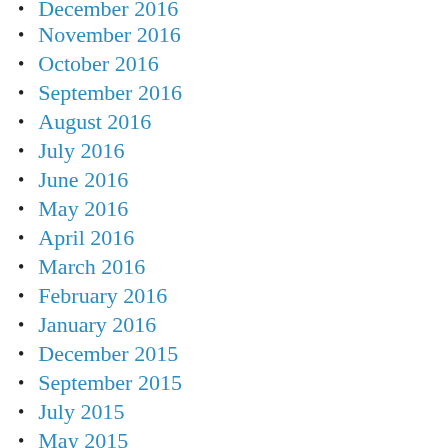December 2016
November 2016
October 2016
September 2016
August 2016
July 2016
June 2016
May 2016
April 2016
March 2016
February 2016
January 2016
December 2015
September 2015
July 2015
May 2015